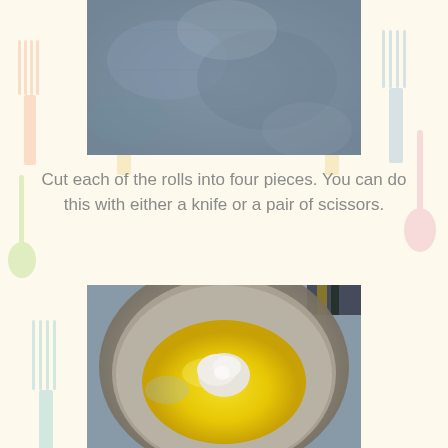[Figure (photo): Top portion of a photo showing a bluish-gray mottled surface, likely a cutting board or dough on a surface]
Cut each of the rolls into four pieces. You can do this with either a knife or a pair of scissors.
[Figure (photo): A glass bowl containing melted yellow butter with a small piece of white dough (roll piece) sitting in the center of the butter]